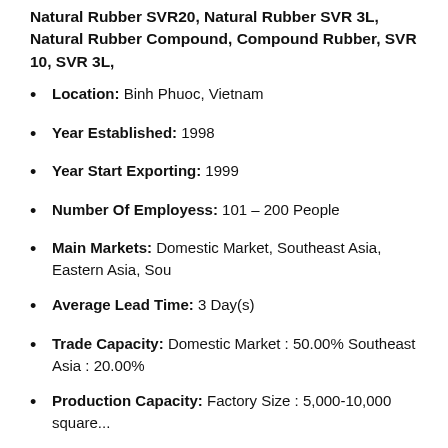Natural Rubber SVR20, Natural Rubber SVR 3L, Natural Rubber Compound, Compound Rubber, SVR 10, SVR 3L,
Location: Binh Phuoc, Vietnam
Year Established: 1998
Year Start Exporting: 1999
Number Of Employess: 101 – 200 People
Main Markets: Domestic Market, Southeast Asia, Eastern Asia, Sou
Average Lead Time: 3 Day(s)
Trade Capacity: Domestic Market : 50.00% Southeast Asia : 20.00%
Production Capacity: Factory Size : 5,000-10,000 square...